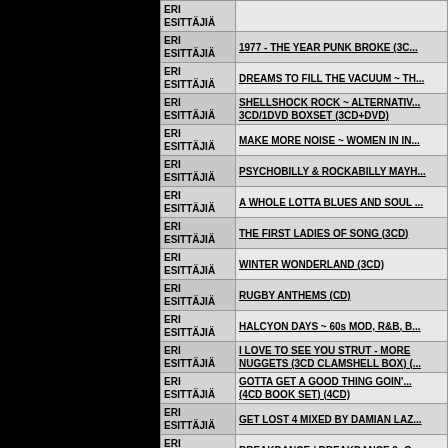| Esittäjä | Title |
| --- | --- |
| ERI ESITTÄJIÄ |  |
| ERI ESITTÄJIÄ | 1977 - THE YEAR PUNK BROKE (3C... |
| ERI ESITTÄJIÄ | DREAMS TO FILL THE VACUUM ~ TH... |
| ERI ESITTÄJIÄ | SHELLSHOCK ROCK ~ ALTERNATIV... 3CD/1DVD BOXSET (3CD+DVD) |
| ERI ESITTÄJIÄ | MAKE MORE NOISE ~ WOMEN IN IN... |
| ERI ESITTÄJIÄ | PSYCHOBILLY & ROCKABILLY MAYH... |
| ERI ESITTÄJIÄ | A WHOLE LOTTA BLUES AND SOUL ... |
| ERI ESITTÄJIÄ | THE FIRST LADIES OF SONG (3CD) |
| ERI ESITTÄJIÄ | WINTER WONDERLAND (3CD) |
| ERI ESITTÄJIÄ | RUGBY ANTHEMS (CD) |
| ERI ESITTÄJIÄ | HALCYON DAYS ~ 60s MOD, R&B, B... |
| ERI ESITTÄJIÄ | I LOVE TO SEE YOU STRUT - MORE NUGGETS (3CD CLAMSHELL BOX) (... |
| ERI ESITTÄJIÄ | GOTTA GET A GOOD THING GOIN'... (4CD BOOK SET) (4CD) |
| ERI ESITTÄJIÄ | GET LOST 4 MIXED BY DAMIAN LAZ... |
| ERI ESITTÄJIÄ | BREAKDANCE / BREAKDANCE 2: O... |
| ERI ESITTÄJIÄ | HELLO EVERYONE ~ POPSIKE SPA... |
| ERI ESITTÄJIÄ | SHAPES & SHADOWS: PSYCHEDEL... CHAPTER ONE VAULTS 1968-72 (CD... |
| ERI ESITTÄJIÄ | SPACED OUT ~ THE STORY OF MUS... |
| ERI ESITTÄJIÄ | SURRENDER TO THE RHYTHM ~ TH... |